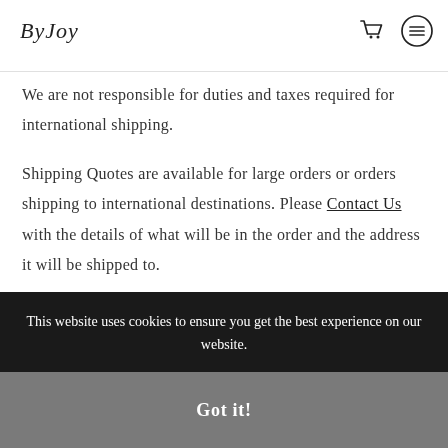ByJoy [logo] [cart icon] [menu icon]
We are not responsible for duties and taxes required for international shipping.
Shipping Quotes are available for large orders or orders shipping to international destinations. Please Contact Us with the details of what will be in the order and the address it will be shipped to.
This website uses cookies to ensure you get the best experience on our website.
Got it!